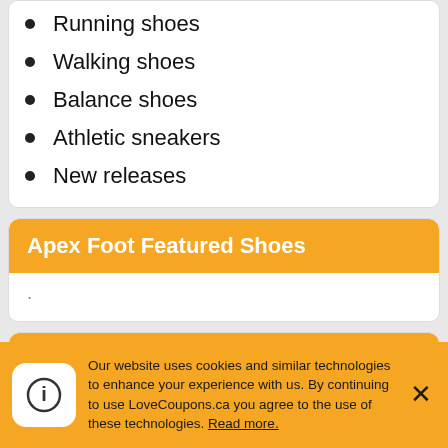Running shoes
Walking shoes
Balance shoes
Athletic sneakers
New releases
Apex Foot Featured Shoes
Apex Foot Top Sellers
Our website uses cookies and similar technologies to enhance your experience with us. By continuing to use LoveCoupons.ca you agree to the use of these technologies. Read more.